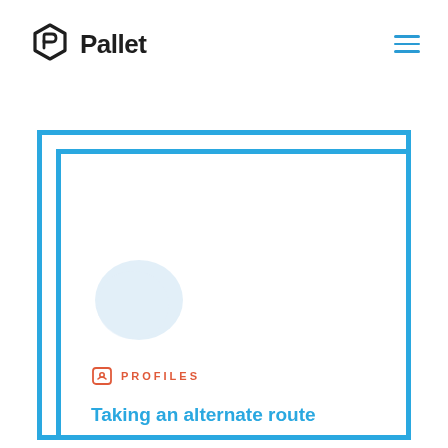Pallet
[Figure (illustration): Pallet logo: hexagon house icon with 'Pallet' text]
[Figure (illustration): Card with blue border containing avatar blob, PROFILES label with icon, and article title 'Taking an alternate route']
PROFILES
Taking an alternate route